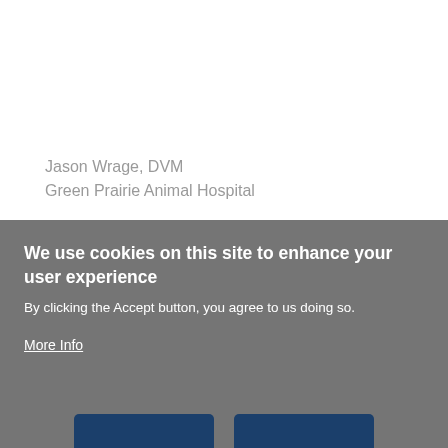Jason Wrage, DVM
Green Prairie Animal Hospital
How soon should I bring my puppy in to see a veterinarian for their first exam?
We use cookies on this site to enhance your user experience
By clicking the Accept button, you agree to us doing so.
More Info